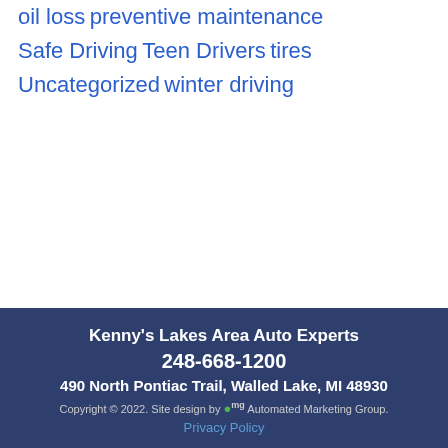oil loss
preventive maintenance
Safe Driving
Teen Drivers
tires
Uncategorized
winter driving
Kenny's Lakes Area Auto Experts
248-668-1200
490 North Pontiac Trail, Walled Lake, MI 48930
Copyright © 2022. Site design by AMG Automated Marketing Group.
Privacy Policy